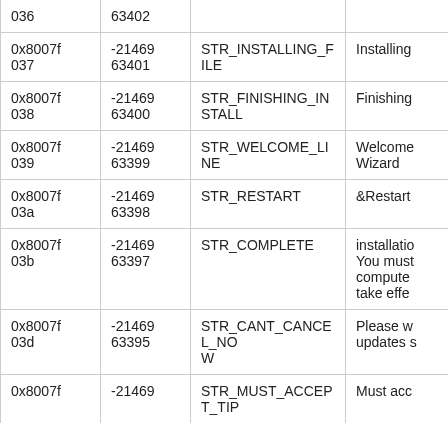| Hex | Decimal | String ID | Description |
| --- | --- | --- | --- |
| 0x8007f036 | -2146963394 | ... | ... |
| 0x8007f037 | -2146963401 | STR_INSTALLING_FILE | Installing... |
| 0x8007f038 | -2146963400 | STR_FINISHING_INSTALL | Finishing... |
| 0x8007f039 | -2146963399 | STR_WELCOME_LINE | Welcome... Wizard |
| 0x8007f03a | -2146963398 | STR_RESTART | &Restart... |
| 0x8007f03b | -2146963397 | STR_COMPLETE | installation... You must... computer... take effe... |
| 0x8007f03d | -2146963395 | STR_CANT_CANCEL_NOW | Please w... updates s... |
| 0x8007f03e | -2146963394 | STR_MUST_ACCEPT_TIP | Must acc... |